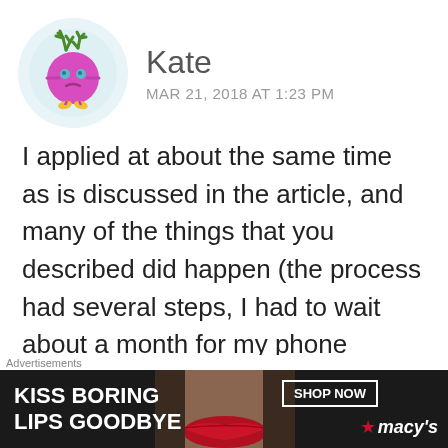[Figure (illustration): User avatar: cartoon pink round character with green antler-like protrusions on top, blue eyes, frowning expression, stick arms extended horizontally, small yellow feet, on a light blue circular background]
Kate
MAR 21, 2018 AT 1:23 PM
I applied at about the same time as is discussed in the article, and many of the things that you described did happen (the process had several steps, I had to wait about a month for my phone interview, the schedule is full until the last half of the year...), but I have certainly noT had the same feelings. It's
Advertisements
[Figure (photo): Macy's advertisement banner: dark background with woman's face showing red lips, text 'KISS BORING LIPS GOODBYE' in white bold font on left, 'SHOP NOW' button and Macy's logo with red star on right]